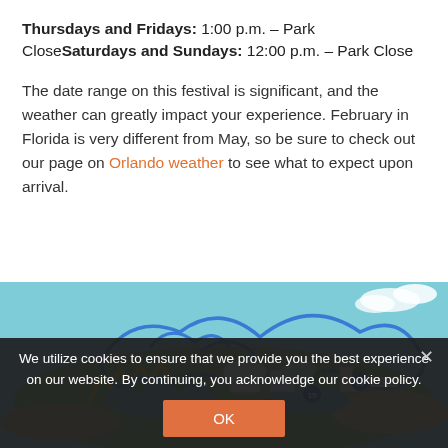Thursdays and Fridays: 1:00 p.m. – Park CloseSaturdays and Sundays: 12:00 p.m. – Park Close
The date range on this festival is significant, and the weather can greatly impact your experience. February in Florida is very different from May, so be sure to check out our page on Orlando weather to see what to expect upon arrival.
[Figure (map): Aerial illustrated map of a theme park (SeaWorld Orlando) showing roller coasters, water rides, and numbered attractions including markers 14, 15, and 16, surrounded by blue water.]
We utilize cookies to ensure that we provide you the best experience on our website. By continuing, you acknowledge our cookie policy.